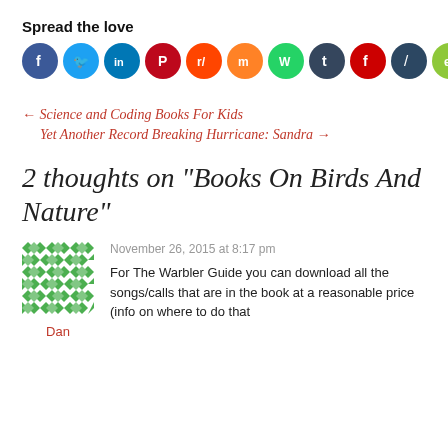Spread the love
[Figure (infographic): Row of 13 social media sharing icon circles: Facebook (blue), Twitter (blue), LinkedIn (blue), Pinterest (red), Reddit (orange-red), Mix (orange), WhatsApp (green), Tumblr (dark blue), Flipboard (red), Feedly (dark teal with slash), Evernote (light green), another icon (dark red), Email (dark olive/green)]
← Science and Coding Books For Kids
Yet Another Record Breaking Hurricane: Sandra →
2 thoughts on "Books On Birds And Nature"
November 26, 2015 at 8:17 pm
[Figure (illustration): Green geometric quilt-pattern avatar for user Dan]
Dan
For The Warbler Guide you can download all the songs/calls that are in the book at a reasonable price (info on where to do that